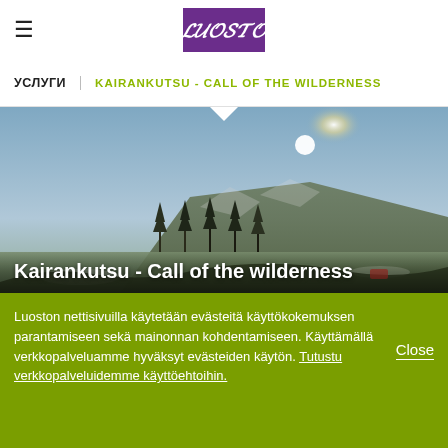≡  LUOSTO (logo)
УСЛУГИ  |  KAIRANKUTSU - CALL OF THE WILDERNESS
[Figure (photo): Landscape photo of a wilderness hillside with pine trees, snow, and a bright sun low in a blue-grey sky. Title overlaid: Kairankutsu - Call of the wilderness]
Kairankutsu - Call of the wilderness
Luoston nettisivuilla käytetään evästeitä käyttökokemuksen parantamiseen sekä mainonnan kohdentamiseen. Käyttämällä verkkopalveluamme hyväksyt evästeiden käytön. Tutustu verkkopalveluidemme käyttöehtoihin.
Close